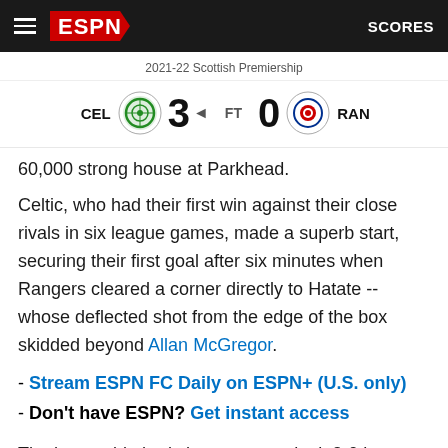ESPN - SCORES
2021-22 Scottish Premiership
CEL 3 FT 0 RAN
60,000 strong house at Parkhead.
Celtic, who had their first win against their close rivals in six league games, made a superb start, securing their first goal after six minutes when Rangers cleared a corner directly to Hatate -- whose deflected shot from the edge of the box skidded beyond Allan McGregor.
- Stream ESPN FC Daily on ESPN+ (U.S. only)
- Don't have ESPN? Get instant access
The home side had chances to make it 2-0 but were denied by McGregor, who parried Jota's ferocious volley, after poor defending by James Tavernier, and the follow-up header by